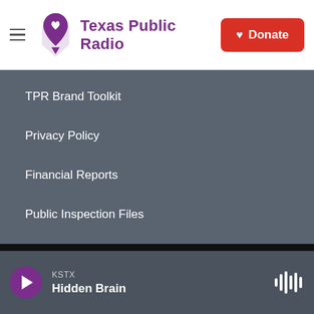Texas Public Radio | Donate
TPR Brand Toolkit
Privacy Policy
Financial Reports
Public Inspection Files
FCC Applications
Diversity Statement
KSTX Hidden Brain